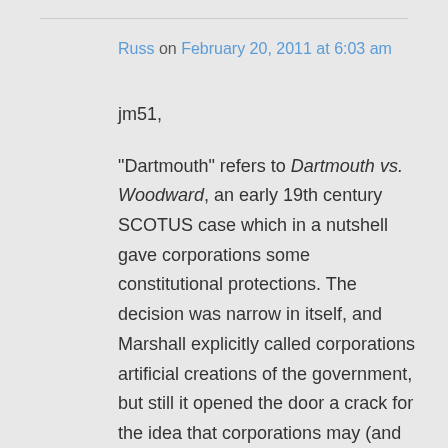Russ on February 20, 2011 at 6:03 am
jm51,

"Dartmouth" refers to Dartmouth vs. Woodward, an early 19th century SCOTUS case which in a nutshell gave corporations some constitutional protections. The decision was narrow in itself, and Marshall explicitly called corporations artificial creations of the government, but still it opened the door a crack for the idea that corporations may (and ought) to have the same rights as people